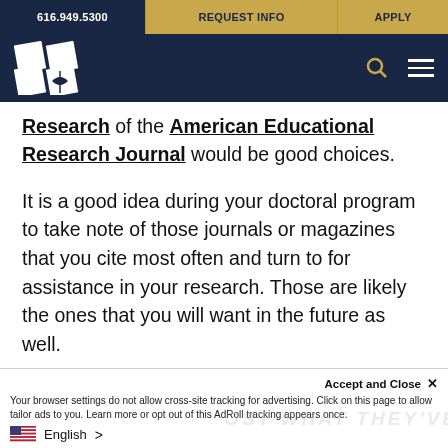616.949.5300 | REQUEST INFO | APPLY
[Figure (logo): University logo with white diamond/leaf shapes on dark navy background, with search and menu icons]
Research of the American Educational Research Journal would be good choices.
It is a good idea during your doctoral program to take note of those journals or magazines that you cite most often and turn to for assistance in your research. Those are likely the ones that you will want in the future as well.
Accept and Close ✕
Your browser settings do not allow cross-site tracking for advertising. Click on this page to allow tailor ads to you. Learn more or opt out of this AdRoll tracking appears once.
🇺🇸 English >